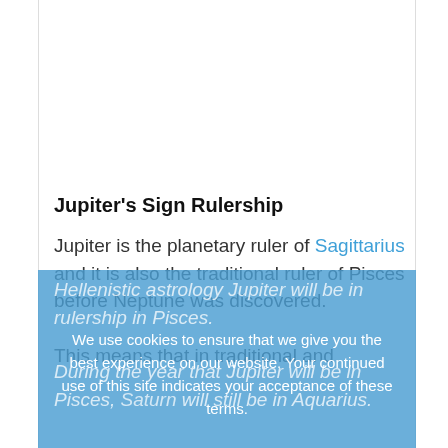Jupiter's Sign Rulership
Jupiter is the planetary ruler of Sagittarius and it is also the traditional ruler of Pisces before Neptune was discovered.

This means that in traditional and Hellenistic astrology Jupiter will be in rulership in Pisces.

During the year that Jupiter will be in Pisces, Saturn will still be in Aquarius.
We use cookies to ensure that we give you the best experience on our website. Your continued use of this site indicates your acceptance of these terms.